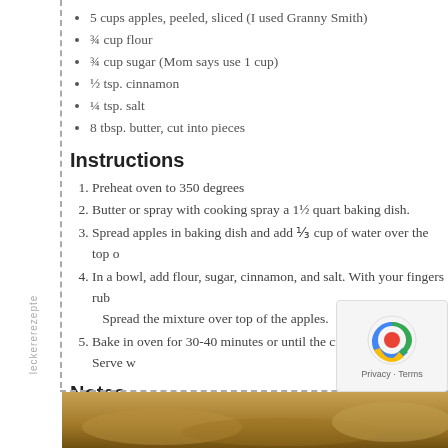5 cups apples, peeled, sliced (I used Granny Smith)
¾ cup flour
¾ cup sugar (Mom says use 1 cup)
½ tsp. cinnamon
¼ tsp. salt
8 tbsp. butter, cut into pieces
Instructions
Preheat oven to 350 degrees
Butter or spray with cooking spray a 1½ quart baking dish.
Spread apples in baking dish and add ⅓ cup of water over the top o
In a bowl, add flour, sugar, cinnamon, and salt. With your fingers rub… Spread the mixture over top of the apples.
Bake in oven for 30-40 minutes or until the crust is browned. Serve w
Notes
To make gluten free add gluten free flour instead of all purpose flour.
Nutrition Information
Serving size: ¾ cup Calories: 335 Fat: 15 Carbohydrates: 49 Sugar: 34 Fi
Wordpress Recipe Plugin by EasyRecipe
[Figure (photo): Photo of apple crisp dish at the bottom of the page]